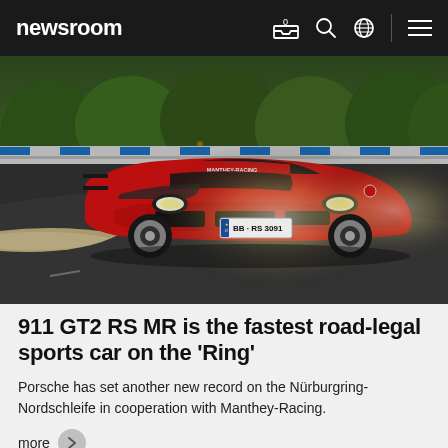newsroom
[Figure (photo): Red Porsche 911 GT2 RS MR racing car with license plate BB RS 3091, photographed on the Nürburgring-Nordschleife track with headlights on, trees visible in background.]
911 GT2 RS MR is the fastest road-legal sports car on the 'Ring'
Porsche has set another new record on the Nürburgring-Nordschleife in cooperation with Manthey-Racing.
more